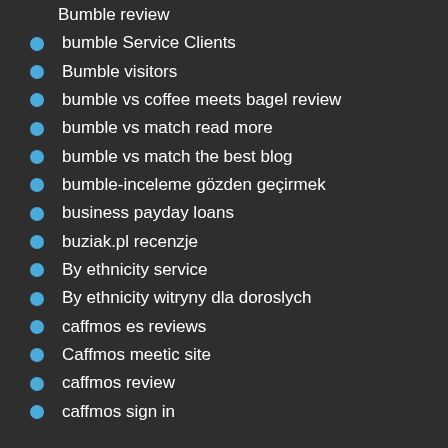Bumble review
bumble Service Clients
Bumble visitors
bumble vs coffee meets bagel review
bumble vs match read more
bumble vs match the best blog
bumble-inceleme gözden geçirmek
business payday loans
buziak.pl recenzje
By ethnicity service
By ethnicity witryny dla doroslych
caffmos es reviews
Caffmos meetic site
caffmos review
caffmos sign in